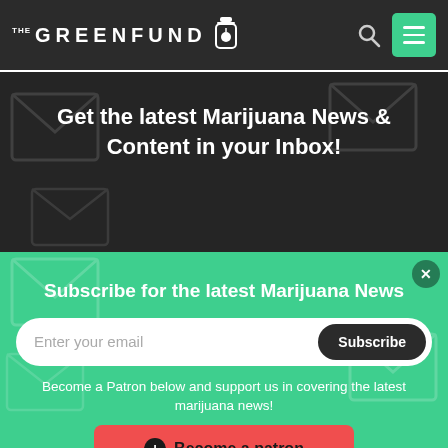THE GREENFUND
Get the latest Marijuana News & Content in your Inbox!
Subscribe for the latest Marijuana News
Enter your email | Subscribe
Become a Patron below and support us in covering the latest marijuana news!
Become a patron